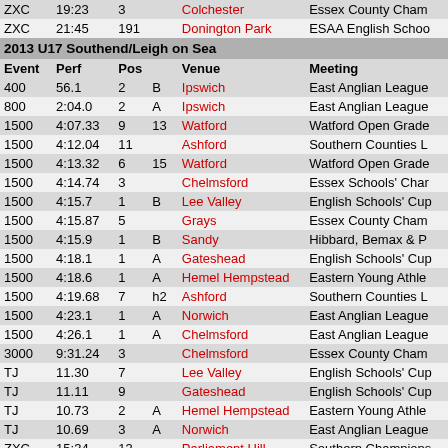| Event | Perf | Pos |  | Venue | Meeting |
| --- | --- | --- | --- | --- | --- |
| ZXC | 19:23 | 3 |  | Colchester | Essex County Cham… |
| ZXC | 21:45 | 191 |  | Donington Park | ESAA English Schoo… |
| 2013 U17 Southend/Leigh on Sea |  |  |  |  |  |
| Event | Perf | Pos |  | Venue | Meeting |
| 400 | 56.1 | 2 | B | Ipswich | East Anglian League… |
| 800 | 2:04.0 | 2 | A | Ipswich | East Anglian League… |
| 1500 | 4:07.33 | 9 | 13 | Watford | Watford Open Grade… |
| 1500 | 4:12.04 | 11 |  | Ashford | Southern Counties L… |
| 1500 | 4:13.32 | 6 | 15 | Watford | Watford Open Grade… |
| 1500 | 4:14.74 | 3 |  | Chelmsford | Essex Schools' Char… |
| 1500 | 4:15.7 | 1 | B | Lee Valley | English Schools' Cup… |
| 1500 | 4:15.87 | 5 |  | Grays | Essex County Cham… |
| 1500 | 4:15.9 | 1 | B | Sandy | Hibbard, Bemax & P… |
| 1500 | 4:18.1 | 1 | A | Gateshead | English Schools' Cup… |
| 1500 | 4:18.6 | 1 | A | Hemel Hempstead | Eastern Young Athle… |
| 1500 | 4:19.68 | 7 | h2 | Ashford | Southern Counties L… |
| 1500 | 4:23.1 | 1 | A | Norwich | East Anglian League… |
| 1500 | 4:26.1 | 1 | A | Chelmsford | East Anglian League… |
| 3000 | 9:31.24 | 3 |  | Chelmsford | Essex County Cham… |
| TJ | 11.30 | 7 |  | Lee Valley | English Schools' Cup… |
| TJ | 11.11 | 9 |  | Gateshead | English Schools' Cup… |
| TJ | 10.73 | 2 | A | Hemel Hempstead | Eastern Young Athle… |
| TJ | 10.69 | 3 | A | Norwich | East Anglian League… |
| ZXC | 15:34 | 13 |  | Parliament Hill | Southern Champions… |
| ZXC | 16:35 | 34 |  | Biggleswade | SEAA Inter Counties… |